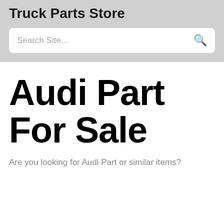Truck Parts Store
Search Site...
Audi Part For Sale
Are you looking for Audi Part or similar items?